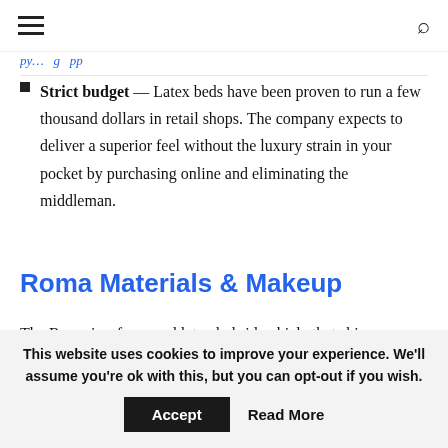≡  🔍
[truncated previous content in blue/link text]
Strict budget — Latex beds have been proven to run a few thousand dollars in retail shops. The company expects to deliver a superior feel without the luxury strain in your pocket by purchasing online and eliminating the middleman.
Roma Materials & Makeup
The Roma is a foam and latex hybrid vehicle that ships compacted in a box. The company promises the mattress will operate on many solid foundations, but they caution against foundations containing pliers or springs more than 3 inches apart as these can
This website uses cookies to improve your experience. We'll assume you're ok with this, but you can opt-out if you wish. Accept  Read More